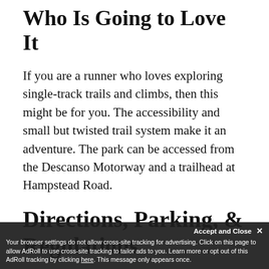Who Is Going to Love It
If you are a runner who loves exploring single-track trails and climbs, then this might be for you. The accessibility and small but twisted trail system make it an adventure. The park can be accessed from the Descanso Motorway and a trailhead at Hampstead Road.
Directions, Parking, & Regulations
The park is most easily accessed via the Verdugo Boulevard exit off of the CA-2 Freeway. Head east on Verdugo Boulev…
Your browser settings do not allow cross-site tracking for advertising. Click on this page to allow AdRoll to use cross-site tracking to tailor ads to you. Learn more or opt out of this AdRoll tracking by clicking here. This message only appears once.